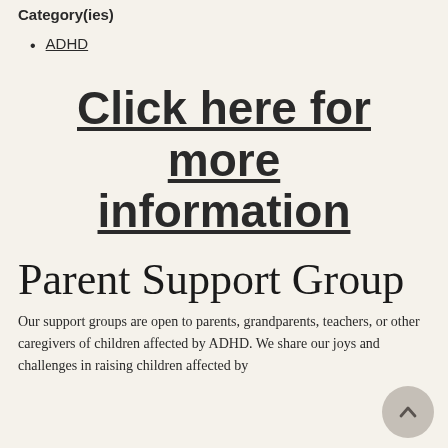Category(ies)
ADHD
Click here for more information
Parent Support Group
Our support groups are open to parents, grandparents, teachers, or other caregivers of children affected by ADHD. We share our joys and challenges in raising children affected by